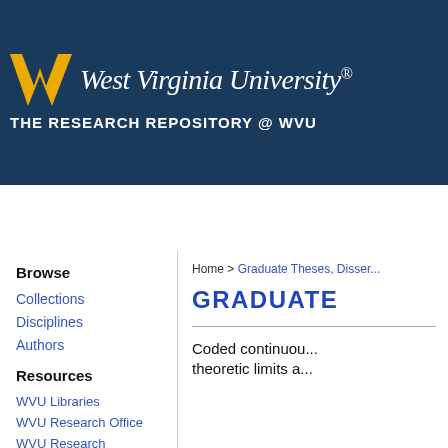[Figure (logo): West Virginia University logo with Flying WV mark and wordmark on dark blue banner background with text 'THE RESEARCH REPOSITORY @ WVU']
Home  About  FAQ  My Account  Contact Us
Browse
Collections
Disciplines
Authors
Resources
WVU Libraries
WVU Research Office
WVU Research Commons
Open Access @ WVU
Home > Graduate Theses, Disser...
GRADUATE
Coded continuou... theoretic limits a...